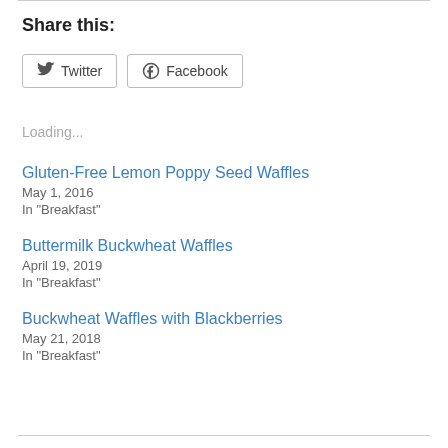Share this:
[Figure (other): Twitter and Facebook share buttons]
Loading...
Gluten-Free Lemon Poppy Seed Waffles
May 1, 2016
In "Breakfast"
Buttermilk Buckwheat Waffles
April 19, 2019
In "Breakfast"
Buckwheat Waffles with Blackberries
May 21, 2018
In "Breakfast"